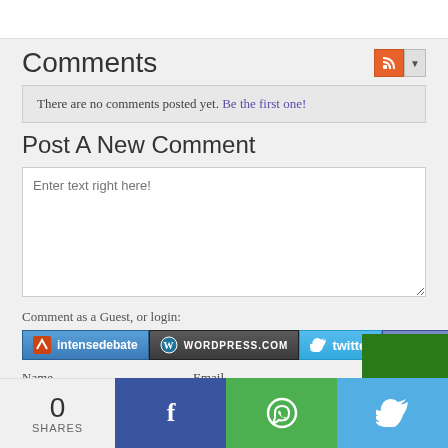Comments
There are no comments posted yet. Be the first one!
Post A New Comment
Enter text right here!
Comment as a Guest, or login:
intensedebate  WORDPRESS.COM  twitter  facebook
Name
Email
Displayed next to your comments.
Not displayed publicly.
0 SHARES